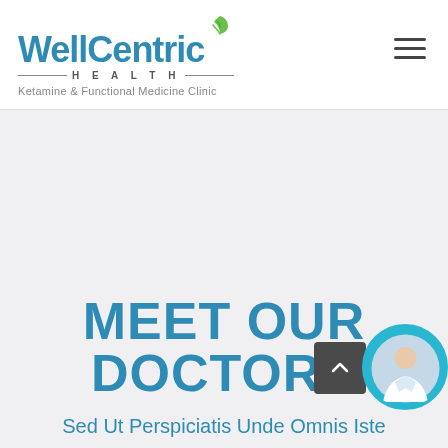[Figure (logo): WellCentric Health logo with green leaf icon, 'HEALTH' text with lines on either side, and tagline 'Ketamine & Functional Medicine Clinic']
MEET OUR DOCTORS
Sed Ut Perspiciatis Unde Omnis Iste
[Figure (photo): Small circular photo of a smiling woman with dark hair wearing a white coat, partially visible on the right edge, with a teal/blue circular background]